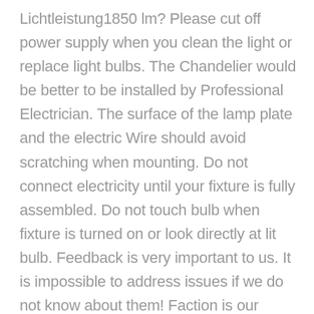Lichtleistung1850 lm? Please cut off power supply when you clean the light or replace light bulbs. The Chandelier would be better to be installed by Professional Electrician. The surface of the lamp plate and the electric Wire should avoid scratching when mounting. Do not connect electricity until your fixture is fully assembled. Do not touch bulb when fixture is turned on or look directly at lit bulb. Feedback is very important to us. It is impossible to address issues if we do not know about them! Faction is our ultimate goal. We work hard to earn your trust and future business. A If you receive a defective item, you may return it or ask for a discount. Due to time zones, our reply to your questions may not be immediately. If it's non-workdays, please kindly be patient and wait till Monday. This item